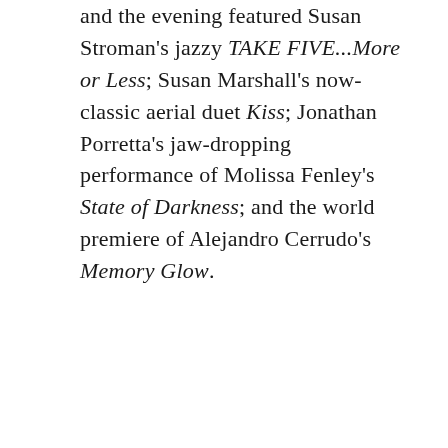and the evening featured Susan Stroman's jazzy TAKE FIVE...More or Less; Susan Marshall's now-classic aerial duet Kiss; Jonathan Porretta's jaw-dropping performance of Molissa Fenley's State of Darkness; and the world premiere of Alejandro Cerrudo's Memory Glow.